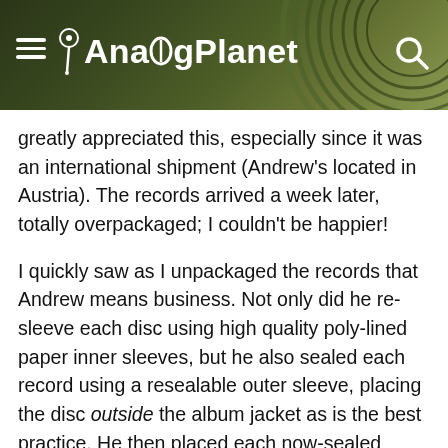AnalogPlanet
greatly appreciated this, especially since it was an international shipment (Andrew's located in Austria). The records arrived a week later, totally overpackaged; I couldn't be happier!
I quickly saw as I unpackaged the records that Andrew means business. Not only did he re-sleeve each disc using high quality poly-lined paper inner sleeves, but he also sealed each record using a resealable outer sleeve, placing the disc outside the album jacket as is the best practice. He then placed each now-sealed album inside the thickest, sturdiest open outer sleeve I've ever seen. Parlogram Auctions sets a new record packaging standard that all companies should follow. The care and effort